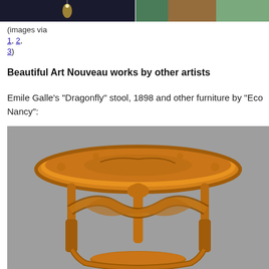[Figure (photo): Partial top strip showing two images side by side — left is a dark photo with a chandelier/light fixture, right is a colorful image with green and orange tones.]
(images via
1, 2,
3)
Beautiful Art Nouveau works by other artists
Emile Galle's "Dragonfly" stool, 1898 and other furniture by "Eco Nancy":
[Figure (photo): Photograph of an ornate Art Nouveau wooden stool or table by Emile Galle, featuring carved dragonfly motifs and organic flowing forms in warm amber/orange wood tones against a grey background.]